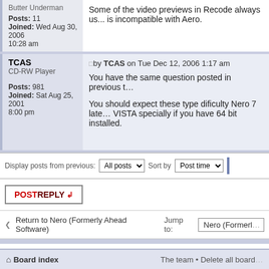Posts: 11
Joined: Wed Aug 30, 2006 10:28 am
Some of the video previews in Recode always us... is incompatible with Aero.
TCAS
CD-RW Player
Posts: 981
Joined: Sat Aug 25, 2001 8:00 pm
by TCAS on Tue Dec 12, 2006 1:17 am
You have the same question posted in previous t...
You should expect these type dificulty Nero 7 late... VISTA specially if you have 64 bit installed.
Display posts from previous: All posts  Sort by Post time
POSTREPLY
Return to Nero (Formerly Ahead Software)
Jump to: Nero (Formerly...
WHO IS ONLINE
Users browsing this forum: No registered users and 0 guests
Board index   The team • Delete all board...